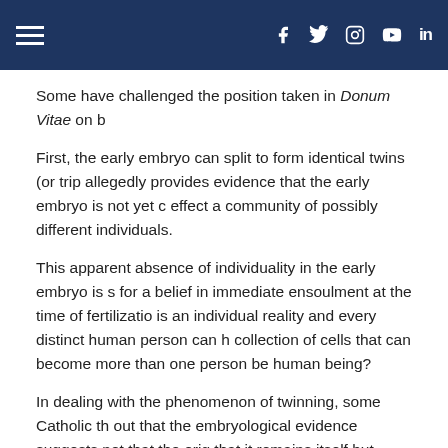Navigation header with hamburger menu and social icons (Facebook, Twitter, Instagram, YouTube, LinkedIn)
Some have challenged the position taken in Donum Vitae on b
First, the early embryo can split to form identical twins (or trip allegedly provides evidence that the early embryo is not yet c effect a community of possibly different individuals.
This apparent absence of individuality in the early embryo is s for a belief in immediate ensoulment at the time of fertilizatio is an individual reality and every distinct human person can h collection of cells that can become more than one person be human being?
In dealing with the phenomenon of twinning, some Catholic th out that the embryological evidence suggests not that the orig that it remains itself but loses one or more cells that become argue that the fact that a group of cells is able after separatio independently into a second individuated organism in no way